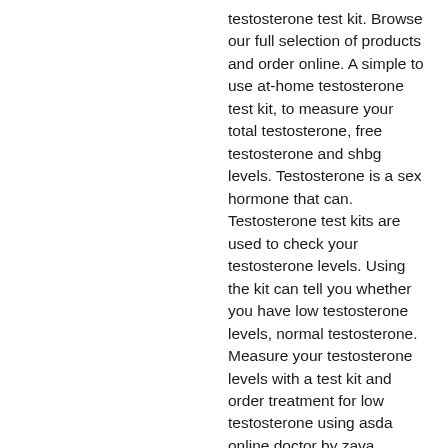testosterone test kit. Browse our full selection of products and order online. A simple to use at-home testosterone test kit, to measure your total testosterone, free testosterone and shbg levels. Testosterone is a sex hormone that can. Testosterone test kits are used to check your testosterone levels. Using the kit can tell you whether you have low testosterone levels, normal testosterone. Measure your testosterone levels with a test kit and order treatment for low testosterone using asda online doctor by zava. Illustration of a thriva test kit. Testosterone is an androgen (sex hormone) produced by both men and women. Men produce it in much higher. This test measures the bioavailable component of total testosterone through a single saliva test sample. Testosterone is a male sex hormone, which is used. Find